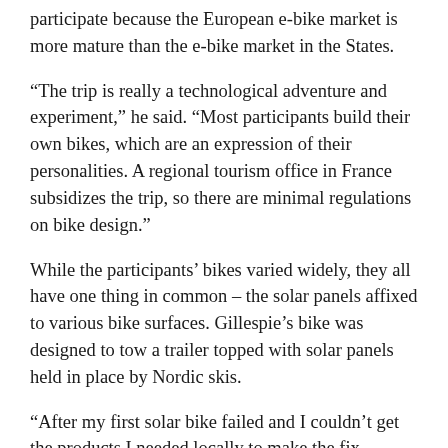participate because the European e-bike market is more mature than the e-bike market in the States.
“The trip is really a technological adventure and experiment,” he said. “Most participants build their own bikes, which are an expression of their personalities. A regional tourism office in France subsidizes the trip, so there are minimal regulations on bike design.”
While the participants’ bikes varied widely, they all have one thing in common – the solar panels affixed to various bike surfaces. Gillespie’s bike was designed to tow a trailer topped with solar panels held in place by Nordic skis.
“After my first solar bike failed and I couldn’t get the products I needed locally to make the fix, myself, along with some really helpful Sun Trip folks, were able to build an entirely new solar bike in about 4 hours,” he recalled. “After we built this bike, I had zero breakdowns or issues the rest of the trip – it was the ultimate ‘field repair’.”
Gillespie enjoyed the trip so much that he’s planning to